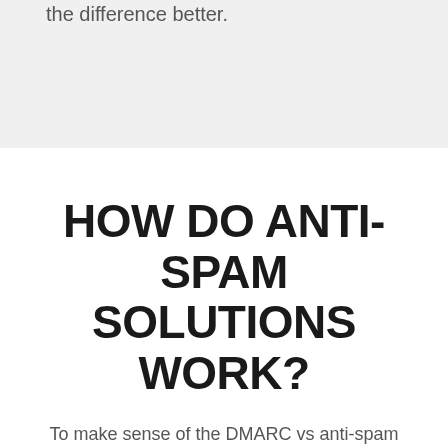the difference better.
HOW DO ANTI-SPAM SOLUTIONS WORK?
To make sense of the DMARC vs anti-spam debate, let's understand how an anti-spam solution works. Anti-spam solutions make use of several algorithms to cut through the inbox clutter and identify and single out potential spam emails. It uses a concoction of filters including content, header, and blacklist filters to